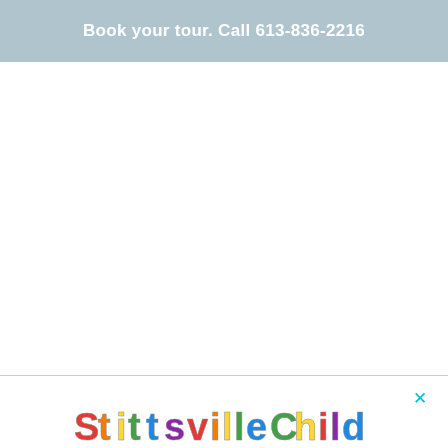Book your tour. Call 613-836-2216
[Figure (logo): Stittsville Childcare colorful bubble-letter logo with cartoon animal characters integrated into the letters]
[Figure (other): Close/dismiss button (×) in cyan color]